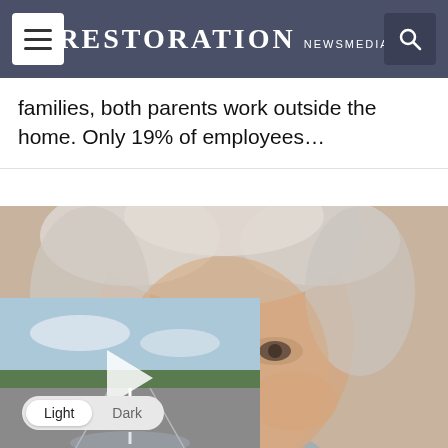RESTORATION NEWSMEDIA
families, both parents work outside the home. Only 19% of employees…
[Figure (photo): Close-up portrait photo of an elderly man with gray/white hair, slightly blurred/out of focus]
[Figure (screenshot): Video player overlay showing a road scene with a play button, alongside a black panel with text: '‘Extreme Heat Belt’ Could Be the Norm in U.S. By 2053' and a close button]
Light  Dark